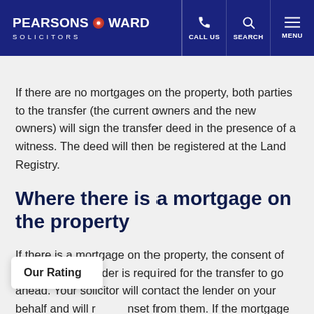PEARSONS & WARD SOLICITORS | CALL US | SEARCH | MENU
If there are no mortgages on the property, both parties to the transfer (the current owners and the new owners) will sign the transfer deed in the presence of a witness. The deed will then be registered at the Land Registry.
Where there is a mortgage on the property
If there is a mortgage on the property, the consent of the mortgage lender is required for the transfer to go ahead. Your solicitor will contact the lender on your behalf and will r[...] nset from them. If the mortgage lender does n[...] e transfer, you will either need to pay off your mortgage or remortgage with a new lender who will